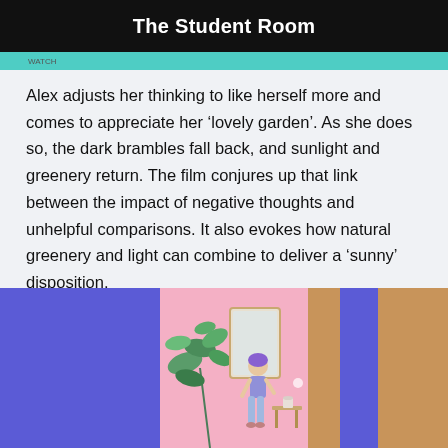The Student Room
Alex adjusts her thinking to like herself more and comes to appreciate her ‘lovely garden’. As she does so, the dark brambles fall back, and sunlight and greenery return. The film conjures up that link between the impact of negative thoughts and unhelpful comparisons. It also evokes how natural greenery and light can combine to deliver a ‘sunny’ disposition.
[Figure (illustration): An illustration showing a person (likely Alex) sitting in a room with pink walls, blue/purple accents, and plant foliage, viewed against a mix of purple and pink background panels.]